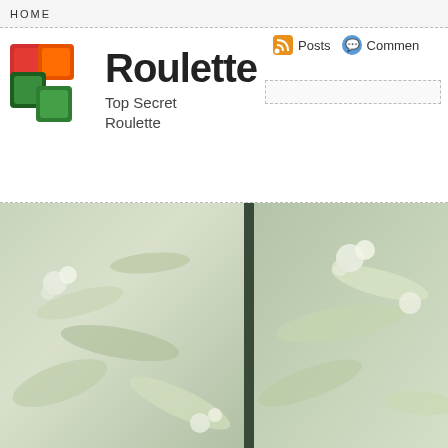HOME
Roulette
Top Secret Roulette
Posts  Comments
[Figure (photo): Two side-by-side close-up photos of white flowering plants with green leaves, muted/desaturated color tones]
Categories
Roulette (582)
Archives
August 2022
July 2022
June 2022
May 2022
April 2022
March 2022
Recent Posts
Roulette Winning Strategies
Pointers to Help When Betting on Roulette
Hints to Help When Wagering on Roulette
Tricks to Help When Betting on Roulette
Roulette schemes
Is Roulette A Match Of Chance?